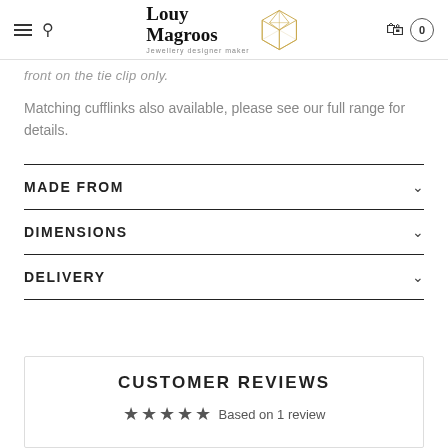Louy Magroos — Jewellery designer maker
front on the tie clip only.
Matching cufflinks also available, please see our full range for details.
MADE FROM
DIMENSIONS
DELIVERY
CUSTOMER REVIEWS
Based on 1 review